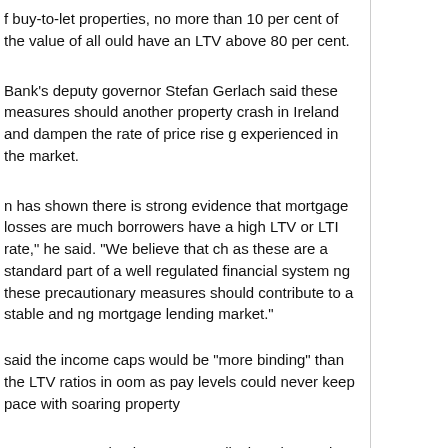f buy-to-let properties, no more than 10 per cent of the value of all ould have an LTV above 80 per cent.
Bank's deputy governor Stefan Gerlach said these measures should another property crash in Ireland and dampen the rate of price rise g experienced in the market.
n has shown there is strong evidence that mortgage losses are much borrowers have a high LTV or LTI rate," he said. "We believe that ch as these are a standard part of a well regulated financial system ng these precautionary measures should contribute to a stable and ng mortgage lending market."
said the income caps would be “more binding” than the LTV ratios in oom as pay levels could never keep pace with soaring property
s are not “completely counter-cyclical” as loan values will rise in line prices.
013, show that of the €2.4 billion in home loans issued, 44 per centre new 80 per cent LTV limit while 23 per cent were above the new